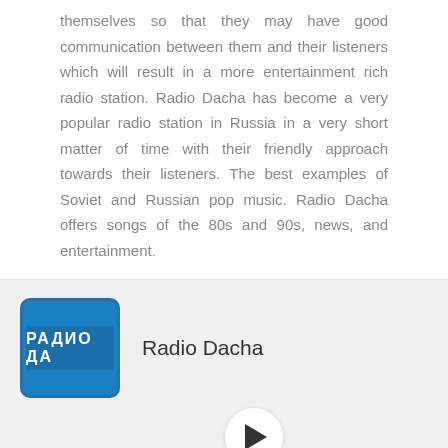themselves so that they may have good communication between them and their listeners which will result in a more entertainment rich radio station. Radio Dacha has become a very popular radio station in Russia in a very short matter of time with their friendly approach towards their listeners. The best examples of Soviet and Russian pop music. Radio Dacha offers songs of the 80s and 90s, news, and entertainment.
About:
...
[Figure (logo): Radio Dacha logo - blue rounded square with white text reading РАДИО ДА (Cyrillic)]
Radio Dacha
[Figure (other): Play button triangle inside a white circle]